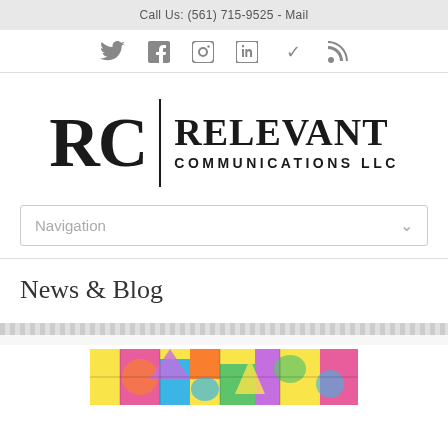Call Us: (561) 715-9525 - Mail
[Figure (other): Social media icons row: Twitter, Facebook, Instagram, LinkedIn, RSS feed]
[Figure (logo): RC | Relevant Communications LLC logo with large serif RC letters, vertical divider, and bold text]
Navigation
News & Blog
[Figure (illustration): Colorful pop-art style illustration partially visible at bottom of page]